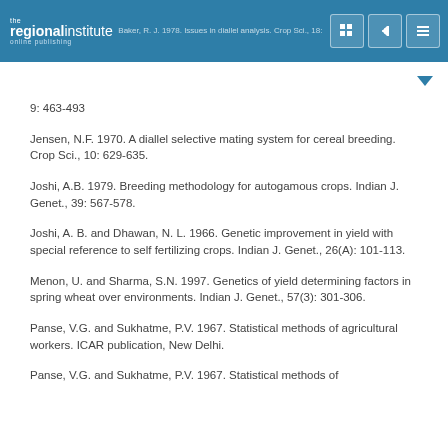the regional institute online publishing | Baker, R. J. 1978. Issues in diallel analysis. Crop Sci., 18:...
9: 463-493
Jensen, N.F. 1970. A diallel selective mating system for cereal breeding. Crop Sci., 10: 629-635.
Joshi, A.B. 1979. Breeding methodology for autogamous crops. Indian J. Genet., 39: 567-578.
Joshi, A. B. and Dhawan, N. L. 1966. Genetic improvement in yield with special reference to self fertilizing crops. Indian J. Genet., 26(A): 101-113.
Menon, U. and Sharma, S.N. 1997. Genetics of yield determining factors in spring wheat over environments. Indian J. Genet., 57(3): 301-306.
Panse, V.G. and Sukhatme, P.V. 1967. Statistical methods of agricultural workers. ICAR publication, New Delhi.
Panse, V.G. and Sukhatme, P.V. 1967. Statistical methods of...